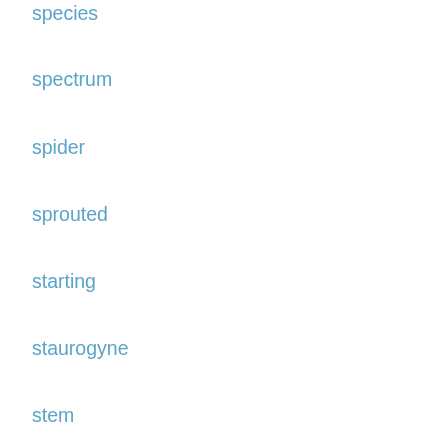species
spectrum
spider
sprouted
starting
staurogyne
stem
stems
step
sterilizer
stock
stop
substrate
sump
sunsun